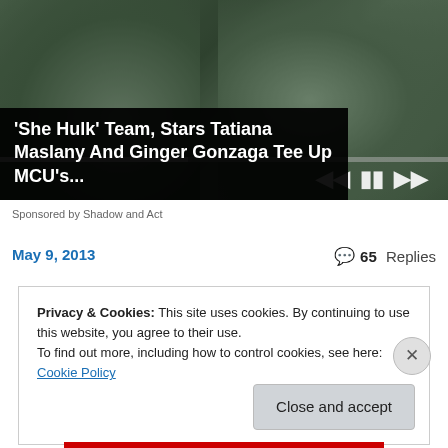[Figure (screenshot): Video player screenshot showing two green-tinted figures (She-Hulk characters) facing each other with hands raised, with media controls (previous, pause, next) and a progress bar overlay.]
'She Hulk' Team, Stars Tatiana Maslany And Ginger Gonzaga Tee Up MCU's...
Sponsored by Shadow and Act
May 9, 2013
65 Replies
Privacy & Cookies: This site uses cookies. By continuing to use this website, you agree to their use.
To find out more, including how to control cookies, see here: Cookie Policy